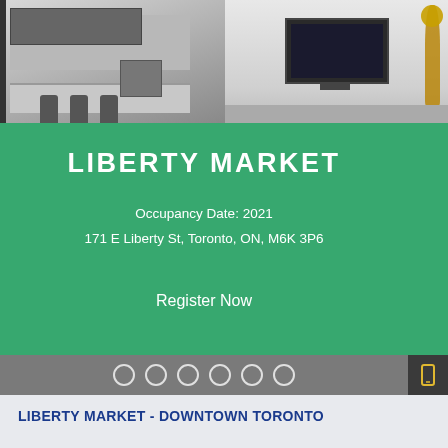[Figure (photo): Interior photos of a modern apartment — left side shows a kitchen with dark cabinetry and bar stools; right side shows a living area with a dark TV mounted on wall and a gold floor lamp]
LIBERTY MARKET
Occupancy Date: 2021
171 E Liberty St, Toronto, ON, M6K 3P6
Register Now
LIBERTY MARKET - DOWNTOWN TORONTO
Overview
Amenities